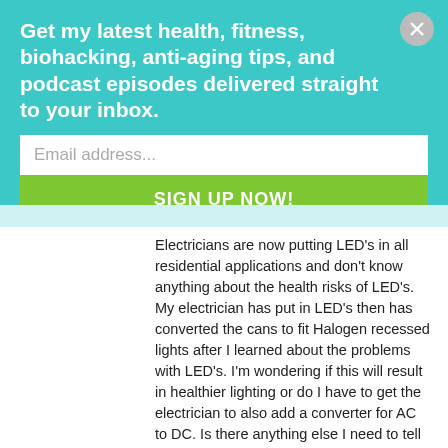Get my latest health, fitness, biohacking, anti-aging tips, and podcast episodes delivered straight to your inbox.
Email address...
SIGN UP NOW!
Electricians are now putting LED's in all residential applications and don't know anything about the health risks of LED's. My electrician has put in LED's then has converted the cans to fit Halogen recessed lights after I learned about the problems with LED's. I'm wondering if this will result in healthier lighting or do I have to get the electrician to also add a converter for AC to DC. Is there anything else I need to tell my electrician?
Reply